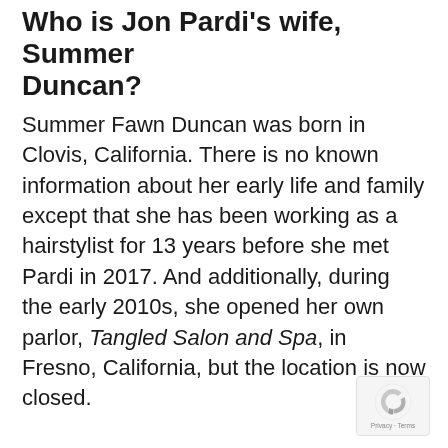Who is Jon Pardi's wife, Summer Duncan?
Summer Fawn Duncan was born in Clovis, California. There is no known information about her early life and family except that she has been working as a hairstylist for 13 years before she met Pardi in 2017. And additionally, during the early 2010s, she opened her own parlor, Tangled Salon and Spa, in Fresno, California, but the location is now closed.
[Figure (logo): reCAPTCHA badge with Privacy + Terms text]